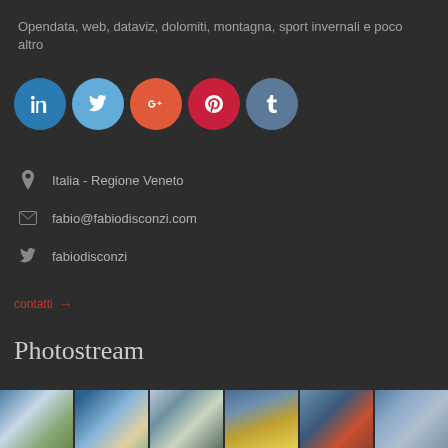Opendata, web, dataviz, dolomiti, montagna, sport invernali e poco altro
[Figure (other): Row of 5 social media icon circles: LinkedIn (blue), Twitter (light blue), Google+ (orange-red), Pinterest (red), Tumblr (steel blue)]
Italia - Regione Veneto
fabio@fabiodisconzi.com
fabiodisconzi
contatti →
Photostream
[Figure (photo): Strip of 6 thumbnail photos showing winter mountain/ski scenes and landscapes]